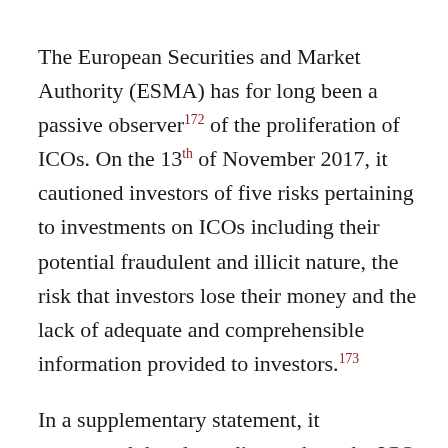The European Securities and Market Authority (ESMA) has for long been a passive observer[172] of the proliferation of ICOs. On the 13th of November 2017, it cautioned investors of five risks pertaining to investments on ICOs including their potential fraudulent and illicit nature, the risk that investors lose their money and the lack of adequate and comprehensible information provided to investors.[173] In a supplementary statement, it announced that depending on how the ICO is structured, it may fall under the MiFiD II, the AIFMs Directive and be subjected to the Prospectus Directive.[174]
While ESMA does not have law making and direct enforcement powers in general,[175] it has extensive role